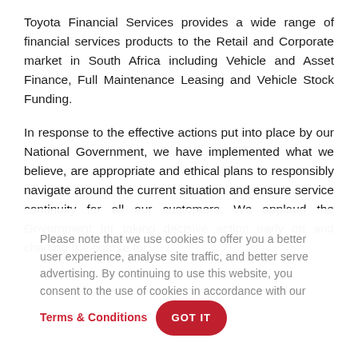Toyota Financial Services provides a wide range of financial services products to the Retail and Corporate market in South Africa including Vehicle and Asset Finance, Full Maintenance Leasing and Vehicle Stock Funding.
In response to the effective actions put into place by our National Government, we have implemented what we believe, are appropriate and ethical plans to responsibly navigate around the current situation and ensure service continuity for all our customers. We applaud the Government for taking decisive action early on and charting the course for...
Please note that we use cookies to offer you a better user experience, analyse site traffic, and better serve advertising. By continuing to use this website, you consent to the use of cookies in accordance with our Terms & Conditions GOT IT